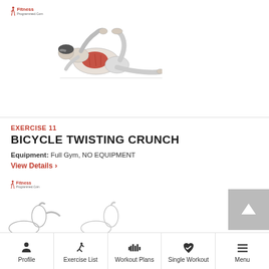[Figure (illustration): Fitness program logo at top left, red and black text 'Fitness Programmed.Com']
[Figure (illustration): Anatomical illustration of a person performing bicycle twisting crunch exercise, lying on back with core muscles highlighted in red]
EXERCISE 11
BICYCLE TWISTING CRUNCH
Equipment: Full Gym, NO EQUIPMENT
View Details ›
[Figure (logo): Fitness Programmed.Com logo, second instance]
[Figure (illustration): Partial view of next exercise illustrations at bottom]
Profile | Exercise List | Workout Plans | Single Workout | Menu